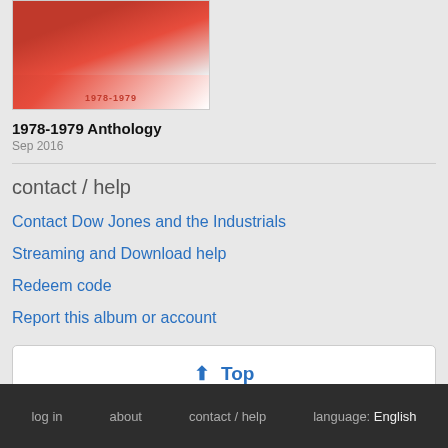[Figure (photo): Album cover thumbnail for 1978-1979 Anthology showing a red-toned image with the text '1978-1979' at the bottom]
1978-1979 Anthology
Sep 2016
contact / help
Contact Dow Jones and the Industrials
Streaming and Download help
Redeem code
Report this album or account
↑ Top
log in   about   contact / help   language: English